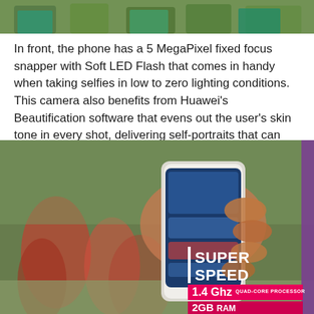[Figure (photo): Top portion of a group photo with people standing, partially cropped at the top of the page]
In front, the phone has a 5 MegaPixel fixed focus snapper with Soft LED Flash that comes in handy when taking selfies in low to zero lighting conditions. This camera also benefits from Huawei's Beautification software that evens out the user's skin tone in every shot, delivering self-portraits that can instantly be shared on Facebook or Instagram.
[Figure (photo): Photo of hands holding a Huawei smartphone at a sports event (kabaddi/wrestling), with an overlay showing 'SUPER SPEED', '1.4 Ghz QUAD-CORE PROCESSOR', '2GB RAM' specs on the right side]